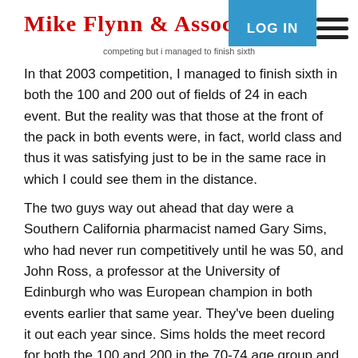MIKE FLYNN & ASSOCIATES
In that 2003 competition, I managed to finish sixth in both the 100 and 200 out of fields of 24 in each event. But the reality was that those at the front of the pack in both events were, in fact, world class and thus it was satisfying just to be in the same race in which I could see them in the distance.
The two guys way out ahead that day were a Southern California pharmacist named Gary Sims, who had never run competitively until he was 50, and John Ross, a professor at the University of Edinburgh who was European champion in both events earlier that same year. They've been dueling it out each year since. Sims holds the meet record for both the 100 and 200 in the 70-74 age group and Ross the meet record for the 100 in the 60-64 age group.
I'm entered as a competitor in the games again this year in